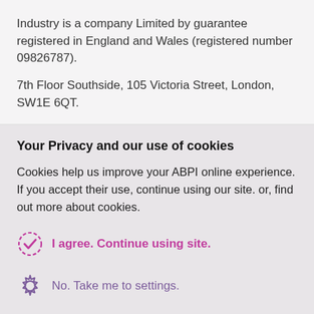Industry is a company Limited by guarantee registered in England and Wales (registered number 09826787).
7th Floor Southside, 105 Victoria Street, London, SW1E 6QT.
Your Privacy and our use of cookies
Cookies help us improve your ABPI online experience. If you accept their use, continue using our site. or, find out more about cookies.
I agree. Continue using site.
No. Take me to settings.